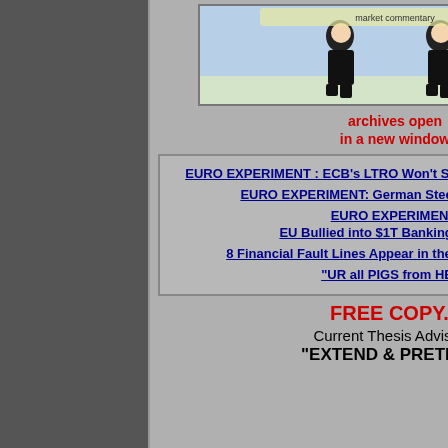[Figure (illustration): Cartoon illustration of two figures in black clothing, appearing to be a comedic/satirical image]
archives open
in a new window
EURO EXPERIMENT : ECB's LTRO Won't Stop Collateral Contagion!
EURO EXPERIMENT: German Steel or Schmucks?
EURO EXPERIMENT: EU Bullied into $1T Banking Bonanza
8 Financial Fault Lines Appear in the Euro Experiment!
"UR all PIGS from HELL
FREE COPY...
Current Thesis Advisory:
"EXTEND & PRETEND"
COPPER - Slowing Global E...
Copper, which serves as an ex... stocks is occurring while the gl...
[Figure (continuous-plot): Line chart showing $SPX S&P 500 and $COPPER daily prices from Mar to May 2013. Y-axis shows copper price range 3.1 to 3.9. Two lines: dark blue line ($COPPER Daily) and black line ($SPX Daily). Chart dated 7-May-2013 9:50.]
For more market insights and i...
www.gainspainscapital.com